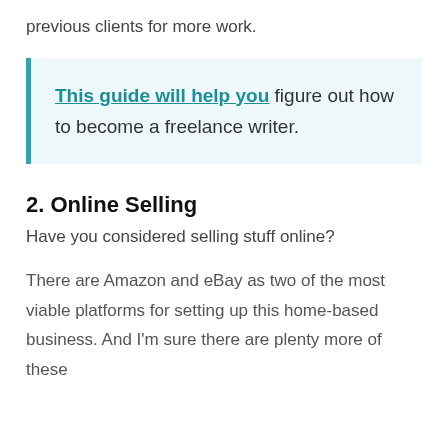previous clients for more work.
This guide will help you figure out how to become a freelance writer.
2. Online Selling
Have you considered selling stuff online?
There are Amazon and eBay as two of the most viable platforms for setting up this home-based business. And I'm sure there are plenty more of these